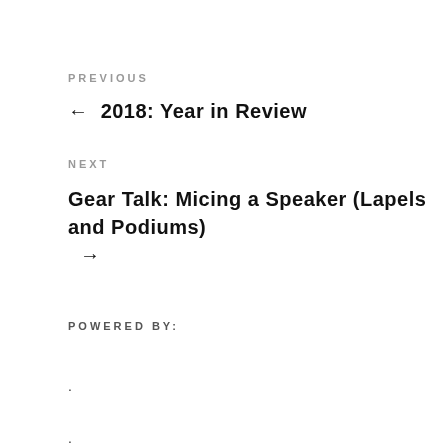PREVIOUS
← 2018: Year in Review
NEXT
Gear Talk: Micing a Speaker (Lapels and Podiums) →
POWERED BY:
.
.